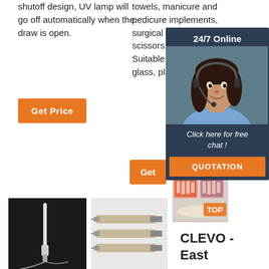shutoff design, UV lamp will go off automatically when the draw is open.
Get Price
towels, manicure and pedicure implements, surgical equipment, scissors, pushers. Suitable materials: glass, plastic,
24/7 Online
Click here for free chat !
QUOTATION
Get
[Figure (photo): Dental tool on dark background]
[Figure (photo): Three dental syringes on gray background]
[Figure (photo): Dental X-ray images with TOP badge]
CLEVO - East